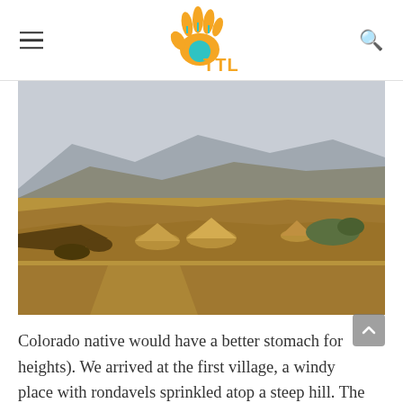TTL logo with hamburger menu and search icon
[Figure (photo): Aerial view of a remote African village with round thatched-roof rondavels set on a barren, rocky hillside with mountains in the background under a hazy sky. Two people visible in the foreground at the bottom of the image.]
Colorado native would have a better stomach for heights). We arrived at the first village, a windy place with rondavels sprinkled atop a steep hill. The village seemed empty, all the